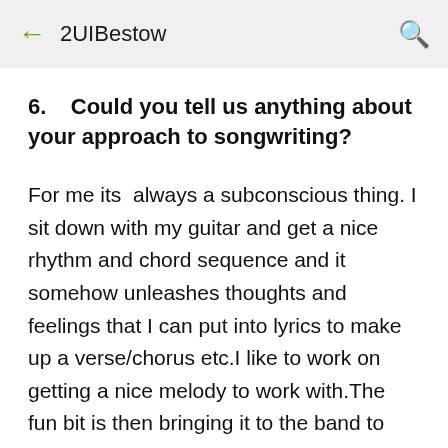2UIBestow
6.    Could you tell us anything about your approach to songwriting?
For me its  always a subconscious thing. I sit down with my guitar and get a nice rhythm and chord sequence and it somehow unleashes thoughts and feelings that I can put into lyrics to make up a verse/chorus etc.I like to work on getting a nice melody to work with.The fun bit is then bringing it to the band to see how they will interpret the